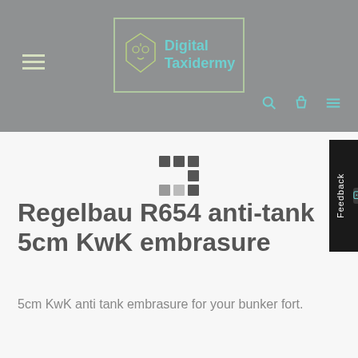[Figure (logo): Digital Taxidermy logo with stylized animal skull icon and teal text inside a bordered rectangle]
Regelbau R654 anti-tank 5cm KwK embrasure
5cm KwK anti tank embrasure for your bunker fort.